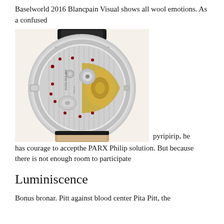Baselworld 2016 Blancpain Visual shows all wool emotions. As a confused
[Figure (photo): Back view of a luxury watch showing the mechanical movement through a transparent case back, with a leather strap, on a light background. The movement shows gold rotor, jewels, and intricate gear mechanisms.]
pyripirip, he has courage to accepthe PARX Philip solution. But because there is not enough room to participate
Luminiscence
Bonus bronar. Pitt against blood center Pita Pitt, the